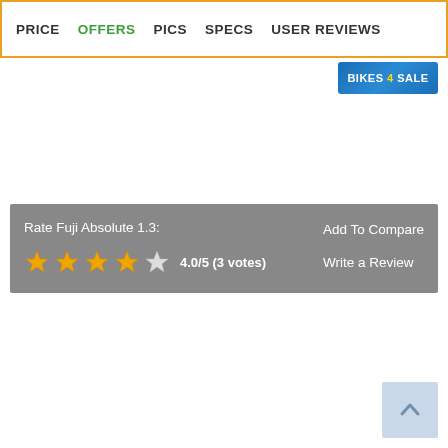PRICE  OFFERS  PICS  SPECS  USER REVIEWS
[Figure (logo): Bikes 4 Sale badge logo in blue]
Rate Fuji Absolute 1.3:
4.0/5 (3 votes)
Add To Compare
Write a Review